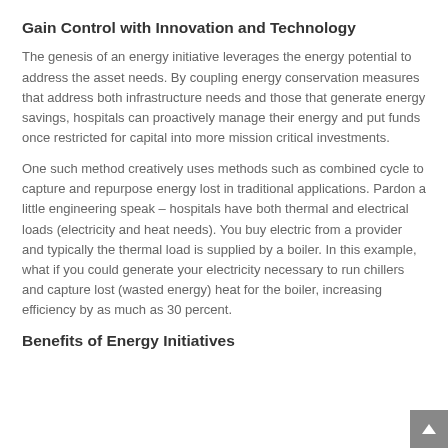Gain Control with Innovation and Technology
The genesis of an energy initiative leverages the energy potential to address the asset needs. By coupling energy conservation measures that address both infrastructure needs and those that generate energy savings, hospitals can proactively manage their energy and put funds once restricted for capital into more mission critical investments.
One such method creatively uses methods such as combined cycle to capture and repurpose energy lost in traditional applications. Pardon a little engineering speak – hospitals have both thermal and electrical loads (electricity and heat needs). You buy electric from a provider and typically the thermal load is supplied by a boiler. In this example, what if you could generate your electricity necessary to run chillers and capture lost (wasted energy) heat for the boiler, increasing efficiency by as much as 30 percent.
Benefits of Energy Initiatives